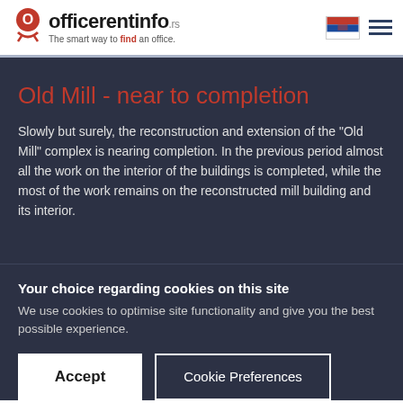officerentinfo.rs — The smart way to find an office.
Old Mill - near to completion
Slowly but surely, the reconstruction and extension of the "Old Mill" complex is nearing completion. In the previous period almost all the work on the interior of the buildings is completed, while the most of the work remains on the reconstructed mill building and its interior.
Your choice regarding cookies on this site
We use cookies to optimise site functionality and give you the best possible experience.